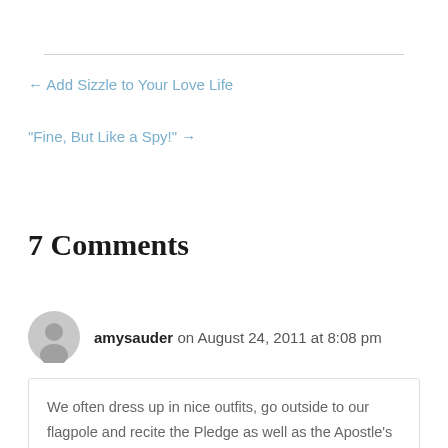← Add Sizzle to Your Love Life
“Fine, But Like a Spy!” →
7 Comments
amysauder on August 24, 2011 at 8:08 pm
We often dress up in nice outfits, go outside to our flagpole and recite the Pledge as well as the Apostle’s Creed and Lord’s Prayer.